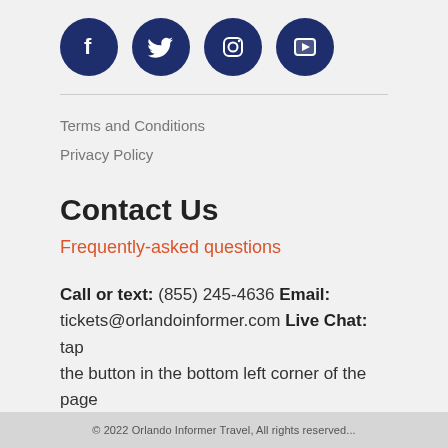[Figure (illustration): Four dark navy blue circular social media icons: Facebook (f), Twitter (bird), Instagram (camera), YouTube (play button)]
Terms and Conditions
Privacy Policy
Contact Us
Frequently-asked questions
Call or text: (855) 245-4636 Email: tickets@orlandoinformer.com Live Chat: tap the button in the bottom left corner of the page
© 2022 Orlando Informer Travel, All rights reserved...